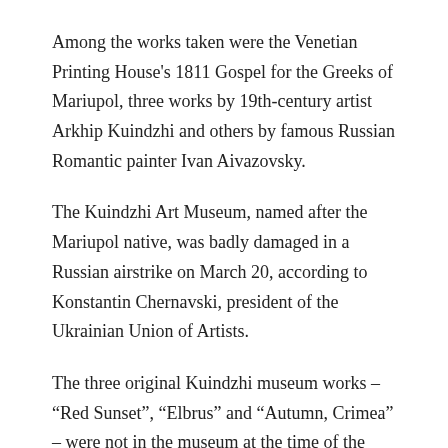Among the works taken were the Venetian Printing House's 1811 Gospel for the Greeks of Mariupol, three works by 19th-century artist Arkhip Kuindzhi and others by famous Russian Romantic painter Ivan Aivazovsky.
The Kuindzhi Art Museum, named after the Mariupol native, was badly damaged in a Russian airstrike on March 20, according to Konstantin Chernavski, president of the Ukrainian Union of Artists.
The three original Kuindzhi museum works – “Red Sunset”, “Elbrus” and “Autumn, Crimea” – were not in the museum at the time of the March strike but had been moved to a secret location, according to Chernavski.
But this week the director of another Mariupol museum – the Local History Museum – handed the art over to Russian forces, said Mariupol mayor adviser Petro Andriushchenko. “Natalia